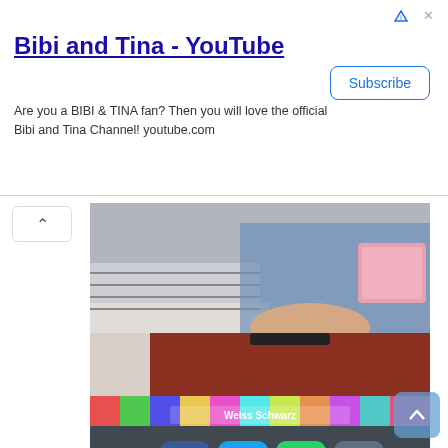Bibi and Tina - YouTube
Are you a BIBI & TINA fan? Then you will love the official Bibi and Tina Channel! youtube.com
[Figure (photo): Photo of a person drawing cards at a table]
Rimi Nishimoto (Rich Ushigamine)
Weiss Schwarz “Girls ☆ Opera Revue Starlight” Mini Stage Day 1
I drew cards full of originality on the theme of “If I was Weiss Schwarz ...?”
[Figure (photo): Photo of Weiss Schwarz booth with colorful anime cards displayed]